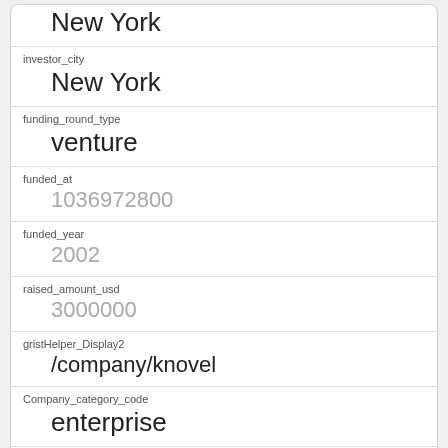New York
investor_city
New York
funding_round_type
venture
funded_at
1036972800
funded_year
2002
raised_amount_usd
3000000
gristHelper_Display2
/company/knovel
Company_category_code
enterprise
Investor
Milestone Venture Partners
https://www.crunchbase.com/financial-organization/milestone-venture-partners